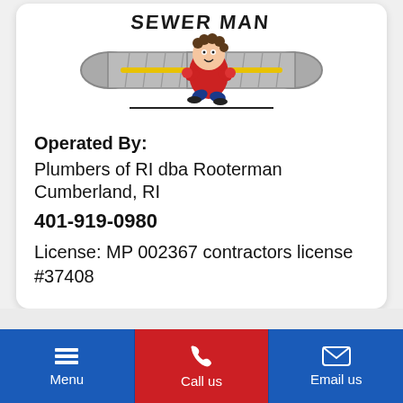[Figure (logo): Sewer Man logo with cartoon character holding a pipe snake, riding through a pipe]
Operated By:
Plumbers of RI dba Rooterman
Cumberland, RI
401-919-0980
License: MP 002367 contractors license #37408
Areas We Serve
Menu
Call us
Email us